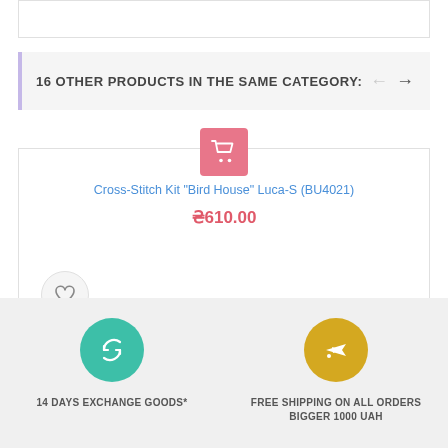[Figure (screenshot): Top empty white box with border]
16 OTHER PRODUCTS IN THE SAME CATEGORY:
[Figure (screenshot): Product card with shopping cart icon, product title, price, and heart/wishlist button]
Cross-Stitch Kit "Bird House" Luca-S (BU4021)
₴610.00
[Figure (infographic): Footer with two icons: teal refresh circle for 14 days exchange goods, gold airplane circle for free shipping on all orders bigger 1000 UAH]
14 DAYS EXCHANGE GOODS*
FREE SHIPPING ON ALL ORDERS BIGGER 1000 UAH